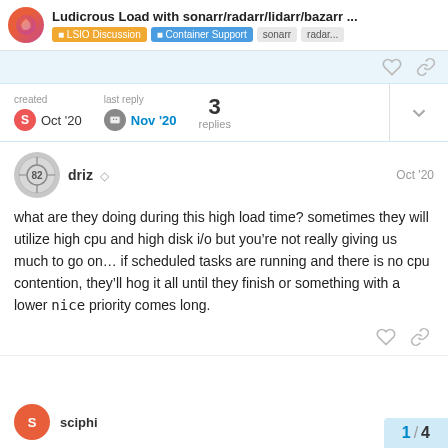Ludicrous Load with sonarr/radarr/lidarr/bazarr ... | LSIO Discussion | Container Support | sonarr | radar...
[Figure (screenshot): Summary card with created Oct '20, last reply Nov '20, 3 replies]
driz  Oct '20
what are they doing during this high load time? sometimes they will utilize high cpu and high disk i/o but you’re not really giving us much to go on… if scheduled tasks are running and there is no cpu contention, they’ll hog it all until they finish or something with a lower nice priority comes long.
1 / 4